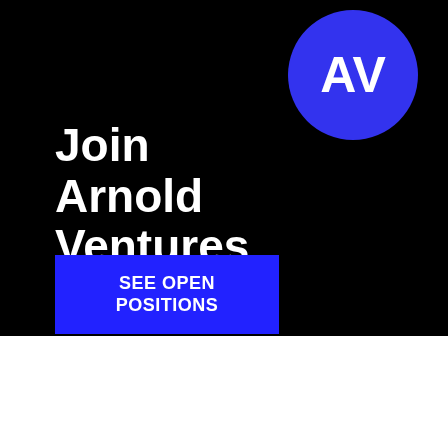[Figure (logo): Arnold Ventures advertisement banner with black background. Blue circle logo with white 'AV' letters in top right. Large white bold text 'Join Arnold Ventures' on left. Blue rectangle button with white text 'SEE OPEN POSITIONS'.]
TOP
Were you sent this briefing by a friend? Sign up here to get the Newsletter.